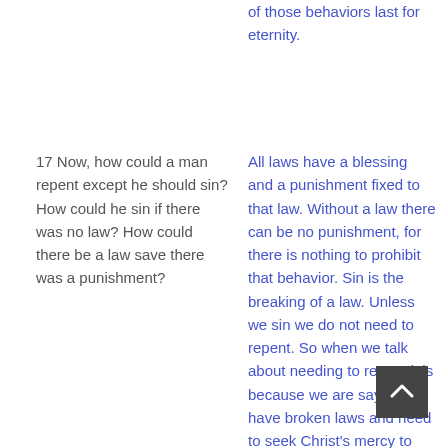of those behaviors last for eternity.
17 Now, how could a man repent except he should sin? How could he sin if there was no law? How could there be a law save there was a punishment?
All laws have a blessing and a punishment fixed to that law. Without a law there can be no punishment, for there is nothing to prohibit that behavior. Sin is the breaking of a law. Unless we sin we do not need to repent. So when we talk about needing to repent it is because we are saying we have broken laws and need to seek Christ's mercy to repent or change our behavior to bring ourselves back into alignment with God's laws. Only Christ's atoning sacrifice can make this